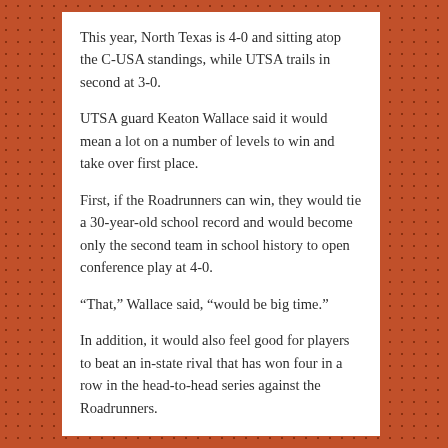This year, North Texas is 4-0 and sitting atop the C-USA standings, while UTSA trails in second at 3-0.
UTSA guard Keaton Wallace said it would mean a lot on a number of levels to win and take over first place.
First, if the Roadrunners can win, they would tie a 30-year-old school record and would become only the second team in school history to open conference play at 4-0.
“That,” Wallace said, “would be big time.”
In addition, it would also feel good for players to beat an in-state rival that has won four in a row in the head-to-head series against the Roadrunners.
Last year, the Mean Green erased a 13-point deficit and beat the Roadrunners 72-71 at the Convocation Center.
Later, North Texas routed UTSA 80-62 at Denton, in the